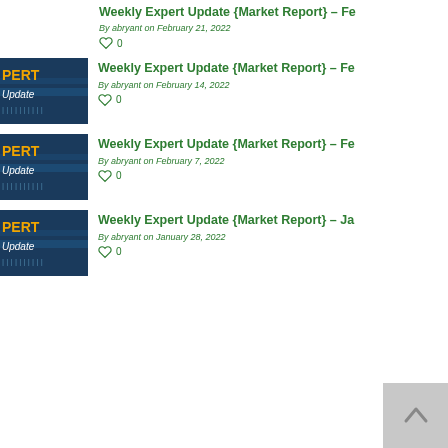Weekly Expert Update {Market Report} – Fe
By abryant on February 21, 2022
0
Weekly Expert Update {Market Report} – Fe
By abryant on February 14, 2022
0
Weekly Expert Update {Market Report} – Fe
By abryant on February 7, 2022
0
Weekly Expert Update {Market Report} – Ja
By abryant on January 28, 2022
0